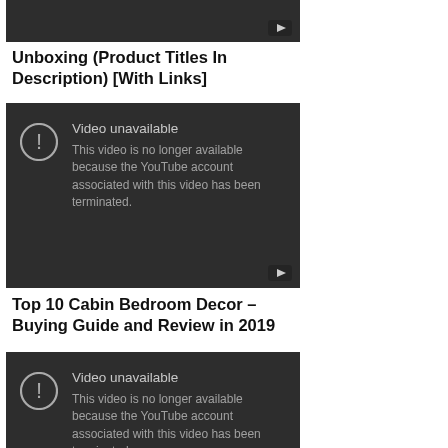[Figure (screenshot): Partial YouTube video thumbnail (top, dark/unavailable) with YouTube logo button at bottom right]
Unboxing (Product Titles In Description) [With Links]
[Figure (screenshot): YouTube video unavailable screen: 'Video unavailable. This video is no longer available because the YouTube account associated with this video has been terminated.' with warning icon and YouTube button]
Top 10 Cabin Bedroom Decor – Buying Guide and Review in 2019
[Figure (screenshot): YouTube video unavailable screen: 'Video unavailable. This video is no longer available because the YouTube account associated with this video has been terminated.' with warning icon and YouTube button]
Top 10 Window Hanging